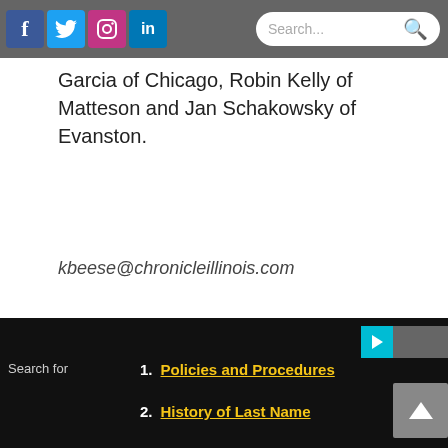Social media icons (Facebook, Twitter, Instagram, LinkedIn) and search bar
Garcia of Chicago, Robin Kelly of Matteson and Jan Schakowsky of Evanston.
kbeese@chronicleillinois.com
ALSO ON CHRONICLE MEDIA
[Figure (screenshot): Carousel widget showing article cards with left and right navigation arrows]
Search for
1. Policies and Procedures
2. History of Last Name